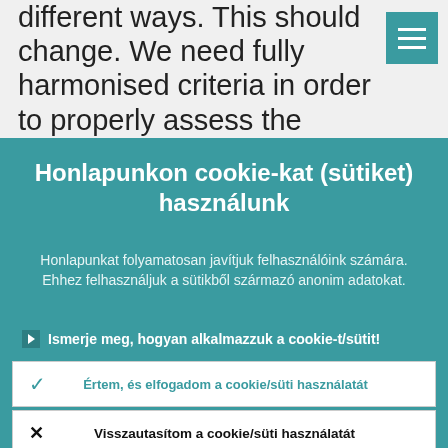different ways. This should change. We need fully harmonised criteria in order to properly assess the suitability of board members across the entire euro area and to
Honlapunkon cookie-kat (sütiket) használunk
Honlapunkat folyamatosan javítjuk felhasználóink számára. Ehhez felhasználjuk a sütikből származó anonim adatokat.
Ismerje meg, hogyan alkalmazzuk a cookie-t/sütit!
Értem, és elfogadom a cookie/süti használatát
Visszautasítom a cookie/süti használatát